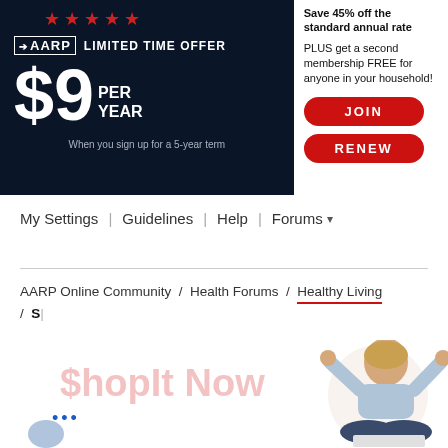[Figure (infographic): AARP membership ad banner split into dark navy left section with LIMITED TIME OFFER $9 PER YEAR pricing and white right section with JOIN and RENEW buttons]
My Settings | Guidelines | Help | Forums ▾
AARP Online Community / Health Forums / Healthy Living / S…
[Figure (photo): ShopIt Now advertisement overlay with faded red text and woman celebrating with raised fists, sitting cross-legged with laptop]
•••